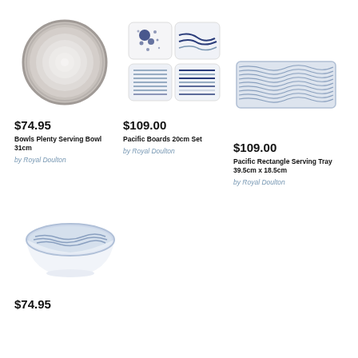[Figure (photo): Bowls Plenty Serving Bowl 31cm - grey ceramic bowl viewed from above]
$74.95
Bowls Plenty Serving Bowl 31cm
by Royal Doulton
[Figure (photo): Pacific Boards 20cm Set - four square plates with blue patterns]
$109.00
Pacific Boards 20cm Set
by Royal Doulton
[Figure (photo): Pacific Rectangle Serving Tray 39.5cm x 18.5cm - rectangular tray with blue wavy stripes]
$109.00
Pacific Rectangle Serving Tray 39.5cm x 18.5cm
by Royal Doulton
[Figure (photo): Bowl with blue wave pattern interior, white exterior]
$74.95